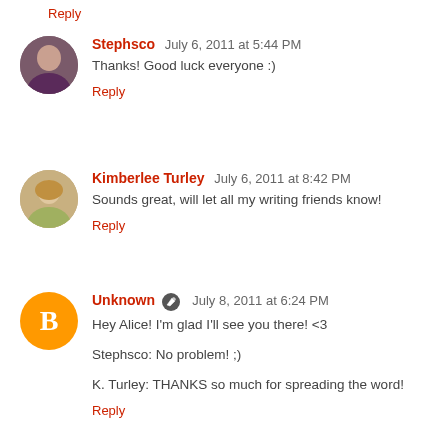Reply
Stephsco  July 6, 2011 at 5:44 PM
Thanks! Good luck everyone :)
Reply
Kimberlee Turley  July 6, 2011 at 8:42 PM
Sounds great, will let all my writing friends know!
Reply
Unknown  July 8, 2011 at 6:24 PM
Hey Alice! I'm glad I'll see you there! <3
Stephsco: No problem! ;)
K. Turley: THANKS so much for spreading the word!
Reply